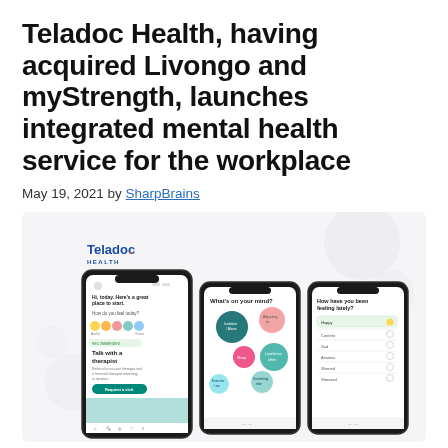Teladoc Health, having acquired Livongo and myStrength, launches integrated mental health service for the workplace
May 19, 2021 by SharpBrains
[Figure (screenshot): Teladoc Health logo with three smartphone screenshots showing the myStrength mental health app interface: first screen shows a wellness check-in with 'Talk with a therapist' recommendation, second screen shows 'What's on your mind?' topic selection bubbles, third screen shows 'How have you been feeling lately?' mood assessment form.]